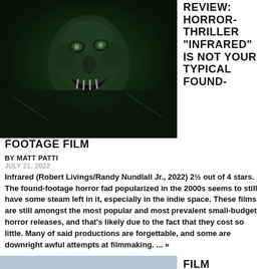[Figure (photo): Green-tinted horror still from the film Infrared showing a frightening creature/zombie face in found-footage style]
REVIEW: HORROR-THRILLER "INFRARED" IS NOT YOUR TYPICAL FOUND-FOOTAGE FILM
BY MATT PATTI
JULY 21, 2022
Infrared (Robert Livings/Randy Nundlall Jr., 2022) 2½ out of 4 stars. The found-footage horror fad popularized in the 2000s seems to still have some steam left in it, especially in the indie space. These films are still amongst the most popular and most prevalent small-budget horror releases, and that's likely due to the fact that they cost so little. Many of said productions are forgettable, and some are downright awful attempts at filmmaking. ... >>
[Figure (photo): Light blue/grey tinted image at bottom of page, partial view]
FILM